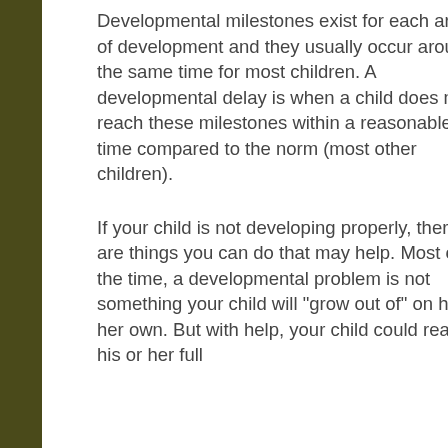Developmental milestones exist for each area of development and they usually occur around the same time for most children. A developmental delay is when a child does not reach these milestones within a reasonable time compared to the norm (most other children).
If your child is not developing properly, there are things you can do that may help. Most of the time, a developmental problem is not something your child will "grow out of" on his or her own. But with help, your child could reach his or her full